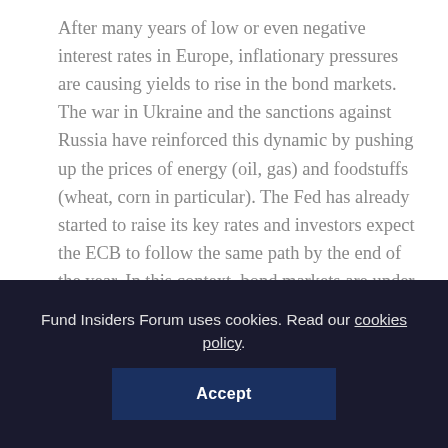After many years of low or even negative interest rates in Europe, inflationary pressures are causing yields to rise in the bond markets. The war in Ukraine and the sanctions against Russia have reinforced this dynamic by pushing up the prices of energy (oil, gas) and foodstuffs (wheat, corn in particular). The Fed has already started to raise its key rates and investors expect the ECB to follow the same path by the end of the year. In this context, bond markets are under pressure: when rates rise, the value of outstanding securities falls. Equity markets are also sensitive to central bank policy. What can we expect in the coming months? What are the implications for investors? Listen to the analysis of Matthieu Grouès, Managing Director at Lazard Frères Gestion, at the FIF event
Fund Insiders Forum uses cookies. Read our cookies policy. Accept